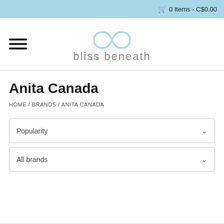0 Items - C$0.00
[Figure (logo): Bliss Beneath logo: infinity symbol in light blue above the text 'bliss beneath' in grey]
Anita Canada
HOME / BRANDS / ANITA CANADA
Popularity
All brands